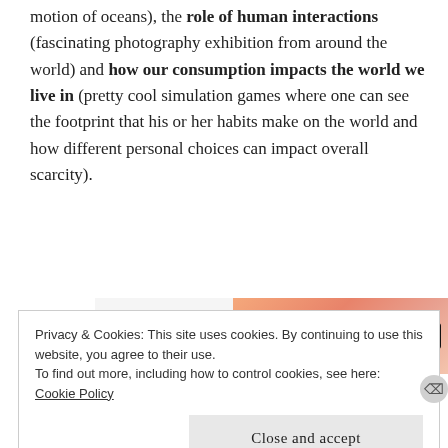motion of oceans), the role of human interactions (fascinating photography exhibition from around the world) and how our consumption impacts the world we live in (pretty cool simulation games where one can see the footprint that his or her habits make on the world and how different personal choices can impact overall scarcity).
[Figure (other): Advertisement banner for W VIP with a gradient orange background and a 'Learn more →' button]
Privacy & Cookies: This site uses cookies. By continuing to use this website, you agree to their use.
To find out more, including how to control cookies, see here: Cookie Policy
Close and accept